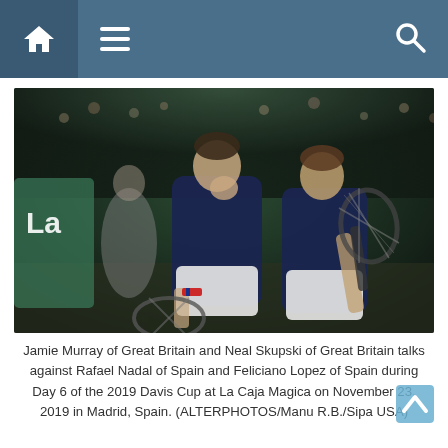Navigation bar with home icon, hamburger menu, and search icon
[Figure (photo): Two male tennis players in dark navy blue Great Britain uniforms walking on a tennis court. The taller player on the left has his hand raised to his mouth. The player on the right is holding a tennis racket. A female figure in grey is visible in the blurred background. A sponsor board with 'La' lettering is visible on the left side.]
Jamie Murray of Great Britain and Neal Skupski of Great Britain talks against Rafael Nadal of Spain and Feliciano Lopez of Spain during Day 6 of the 2019 Davis Cup at La Caja Magica on November 23, 2019 in Madrid, Spain. (ALTERPHOTOS/Manu R.B./Sipa USA)